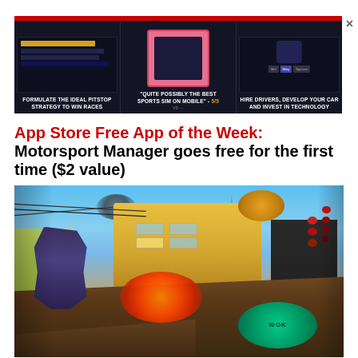[Figure (screenshot): Advertisement banner for Motorsport Manager mobile game showing three panels: left panel with race strategy UI and text 'FORMULATE THE IDEAL PITSTOP STRATEGY TO WIN RACES', center panel with phone showing game with quote 'QUITE POSSIBLY THE BEST SPORTS SIM ON MOBILE' - 5/5, right panel with driver management UI and text 'HIRE DRIVERS, DEVELOP YOUR CAR AND INVEST IN TECHNOLOGY'. Close X button on right side.]
App Store Free App of the Week: Motorsport Manager goes free for the first time ($2 value)
[Figure (screenshot): Colorful action game screenshot showing an animated urban street scene with explosions, a character running, neon signs including a green circular WOK sign, colorful buildings, blue sky with floating objects, and lanterns. Appears to be a mobile action/shooter game set in an Asian-themed city environment.]